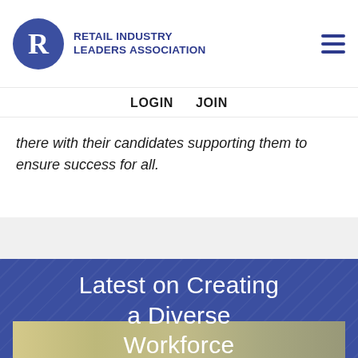RETAIL INDUSTRY LEADERS ASSOCIATION
LOGIN   JOIN
there with their candidates supporting them to ensure success for all.
Latest on Creating a Diverse Workforce
[Figure (photo): Partial photo strip visible at bottom of page]